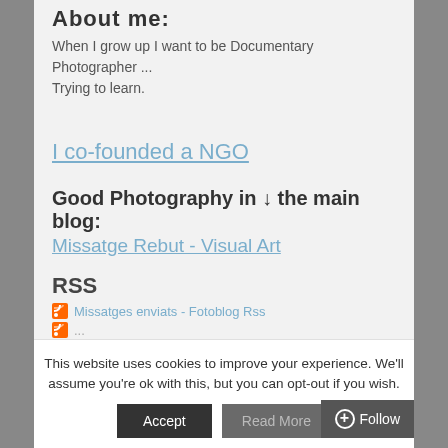About me:
When I grow up I want to be Documentary Photographer ...
Trying to learn.
I co-founded a NGO
Good Photography in ↓ the main blog:
Missatge Rebut - Visual Art
RSS
Missatges enviats - Fotoblog Rss
This website uses cookies to improve your experience. We'll assume you're ok with this, but you can opt-out if you wish.
Accept
Read More
+ Follow